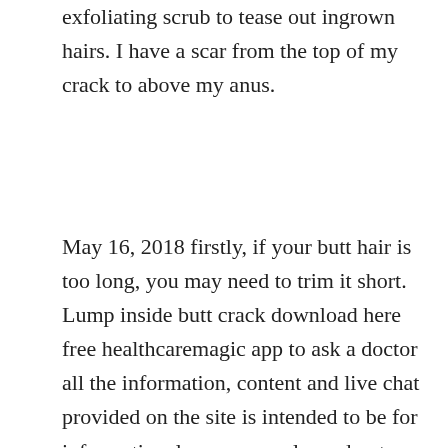exfoliating scrub to tease out ingrown hairs. I have a scar from the top of my crack to above my anus.
May 16, 2018 firstly, if your butt hair is too long, you may need to trim it short. Lump inside butt crack download here free healthcaremagic app to ask a doctor all the information, content and live chat provided on the site is intended to be for informational purposes only, and not a substitute for professional or medical advice. An infected hair follicle around the buttocks area caused